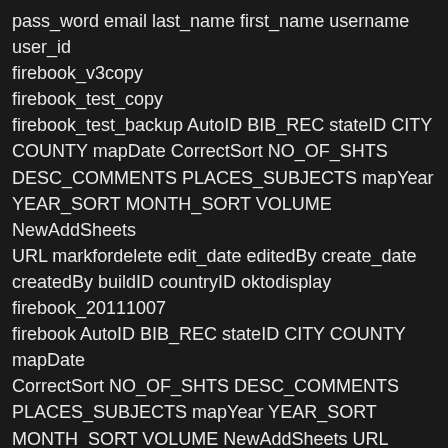pass_word email last_name first_name username user_id
firebook_v3copy
firebook_test_copy
firebook_test_backup AutoID BIB_REC stateID CITY
COUNTY mapDate CorrectSort NO_OF_SHTS
DESC_COMMENTS PLACES_SUBJECTS mapYear
YEAR_SORT MONTH_SORT VOLUME NewAddSheets
URL markfordelete edit_date editedBy create_date
createdBy buildID countryID oktodisplay
firebook_20111007
firebook AutoID BIB_REC stateID CITY COUNTY mapDate
CorrectSort NO_OF_SHTS DESC_COMMENTS
PLACES_SUBJECTS mapYear YEAR_SORT
MONTH_SORT VOLUME NewAddSheets URL
markfordelete edit_date editedBy create_date createdBy
buildID countryID oktodisplay
countries
buildingTypes buildID buildingType

information_schema
Table Name Columns